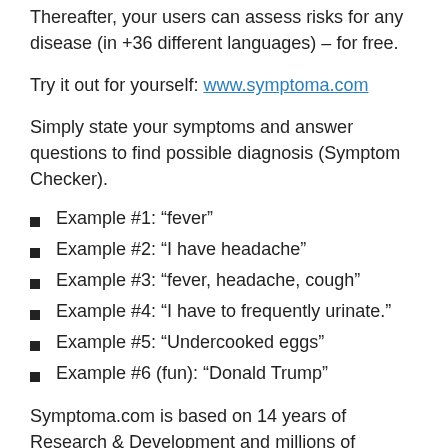Thereafter, your users can assess risks for any disease (in +36 different languages) – for free.
Try it out for yourself: www.symptoma.com
Simply state your symptoms and answer questions to find possible diagnosis (Symptom Checker).
Example #1: “fever”
Example #2: “I have headache”
Example #3: “fever, headache, cough”
Example #4: “I have to frequently urinate.”
Example #5: “Undercooked eggs”
Example #6 (fun): “Donald Trump”
Symptoma.com is based on 14 years of Research & Development and millions of medical publications by doctors and scientists. It has won +40 international awards – most notably from the Dutch and German ministry of health, and the European commission